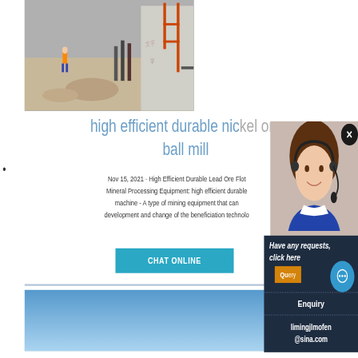[Figure (photo): Construction site photo showing workers and industrial drilling/mining equipment with orange scaffolding and machinery]
high efficient durable nickel ore ball mill
Nov 15, 2021 · High Efficient Durable Lead Ore Flot Mineral Processing Equipment: high efficient durable machine - A type of mining equipment that can development and change of the beneficiation technolo
[Figure (screenshot): Chat online button (teal/blue button with white text CHAT ONLINE)]
[Figure (photo): Photo of smiling woman with headset (customer service agent) on dark navy background popup overlay with text: Have any requests, click here, Que[ry button], Enquiry, limingjlmofen@sina.com and chat icon circle]
[Figure (photo): Bottom photo showing blue sky background with industrial equipment]